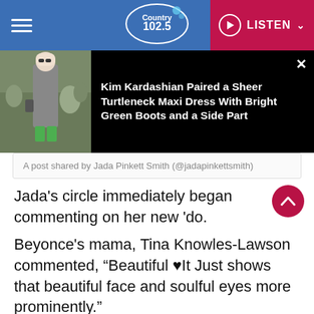Country 102.5 — LISTEN
[Figure (screenshot): Promotional overlay showing Kim Kardashian in a sheer turtleneck maxi dress with bright green boots]
Kim Kardashian Paired a Sheer Turtleneck Maxi Dress With Bright Green Boots and a Side Part
A post shared by Jada Pinkett Smith (@jadapinkettsmith)
Jada's circle immediately began commenting on her new 'do.
Beyonce's mama, Tina Knowles-Lawson commented, “Beautiful ♥It Just shows that beautiful face and soulful eyes more prominently.”